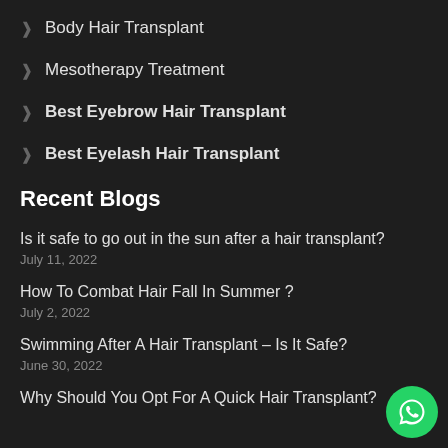Body Hair Transplant
Mesotherapy Treatment
Best Eyebrow Hair Transplant
Best Eyelash Hair Transplant
Recent Blogs
Is it safe to go out in the sun after a hair transplant?
July 11, 2022
How To Combat Hair Fall In Summer ?
July 2, 2022
Swimming After A Hair Transplant – Is It Safe?
June 30, 2022